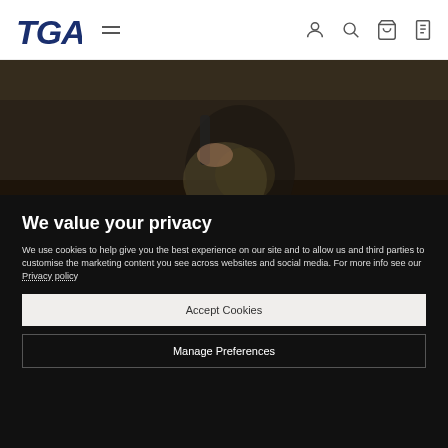TGA — navigation header with logo, hamburger menu, and icons for user, search, cart, document
[Figure (photo): Person seated in a powered wheelchair, viewed from above/side, wearing camouflage trousers, dark background]
We value your privacy
We use cookies to help give you the best experience on our site and to allow us and third parties to customise the marketing content you see across websites and social media. For more info see our Privacy policy
Accept Cookies
Manage Preferences